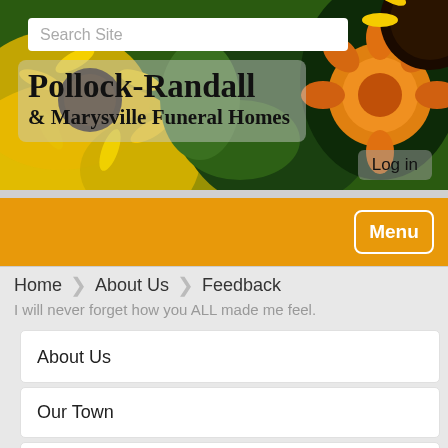[Figure (photo): Header banner with sunflowers and orange flowers in the background, with a search bar at the top and the site title overlaid]
Pollock-Randall & Marysville Funeral Homes
Login
[Figure (infographic): Orange navigation bar with a Menu button on the right]
Home   About Us   Feedback
I will never forget how you ALL made me feel.
About Us
Our Town
Feedback